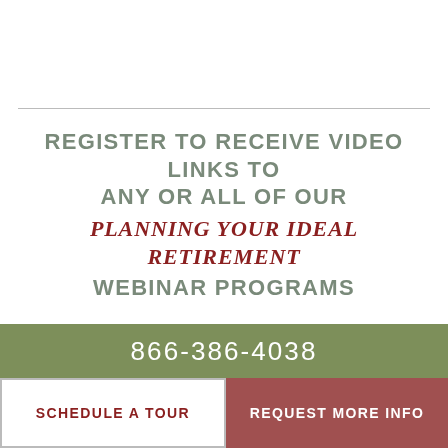REGISTER TO RECEIVE VIDEO LINKS TO ANY OR ALL OF OUR PLANNING YOUR IDEAL RETIREMENT WEBINAR PROGRAMS
REGISTER HERE
866-386-4038
SCHEDULE A TOUR
REQUEST MORE INFO